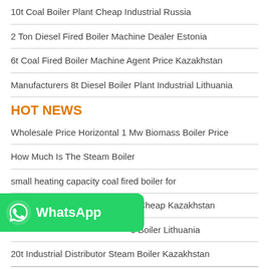10t Coal Boiler Plant Cheap Industrial Russia
2 Ton Diesel Fired Boiler Machine Dealer Estonia
6t Coal Fired Boiler Machine Agent Price Kazakhstan
Manufacturers 8t Diesel Boiler Plant Industrial Lithuania
HOT NEWS
Wholesale Price Horizontal 1 Mw Biomass Boiler Price
How Much Is The Steam Boiler
small heating capacity coal fired boiler for
8 Ton Oil Powered Boiler Brand Cheap Kazakhstan
[Figure (logo): WhatsApp logo banner with green background and white phone icon and WhatsApp text]
s Boiler Lithuania
20t Industrial Distributor Steam Boiler Kazakhstan